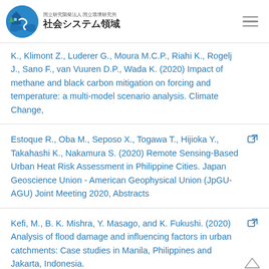国立研究開発法人 国立環境研究所 社会システム領域
K., Klimont Z., Luderer G., Moura M.C.P., Riahi K., Rogelj J., Sano F., van Vuuren D.P., Wada K. (2020) Impact of methane and black carbon mitigation on forcing and temperature: a multi-model scenario analysis. Climate Change,
Estoque R., Oba M., Seposo X., Togawa T., Hijioka Y., Takahashi K., Nakamura S. (2020) Remote Sensing-Based Urban Heat Risk Assessment in Philippine Cities. Japan Geoscience Union - American Geophysical Union (JpGU-AGU) Joint Meeting 2020, Abstracts
Kefi, M., B. K. Mishra, Y. Masago, and K. Fukushi. (2020) Analysis of flood damage and influencing factors in urban catchments: Case studies in Manila, Philippines and Jakarta, Indonesia.